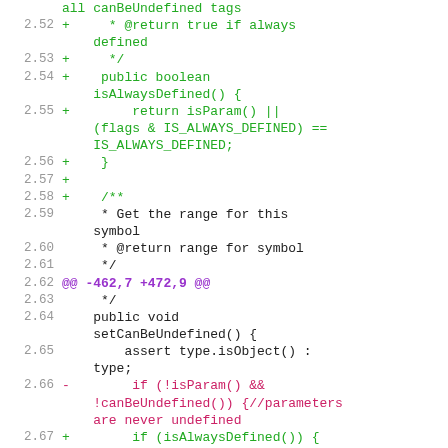[Figure (screenshot): Code diff view showing lines 2.52 through 2.70 of a source file. Lines in green with '+' are additions, lines in red/pink with '-' are deletions, purple lines are diff chunk headers, and default colored lines are context lines. The code is Java, showing methods isAlwaysDefined() and setCanBeUndefined().]